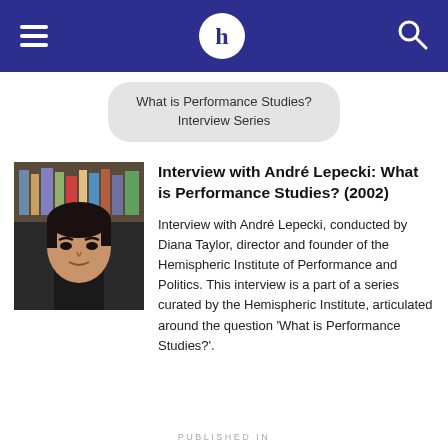H (Hemispheric Institute logo)
What is Performance Studies? Interview Series
[Figure (photo): Portrait photo of André Lepecki, a man with dark hair wearing a dark shirt, photographed indoors with bookshelves in the background.]
Interview with André Lepecki: What is Performance Studies? (2002)
Interview with André Lepecki, conducted by Diana Taylor, director and founder of the Hemispheric Institute of Performance and Politics. This interview is a part of a series curated by the Hemispheric Institute, articulated around the question 'What is Performance Studies?'.
PUBLISHED IN